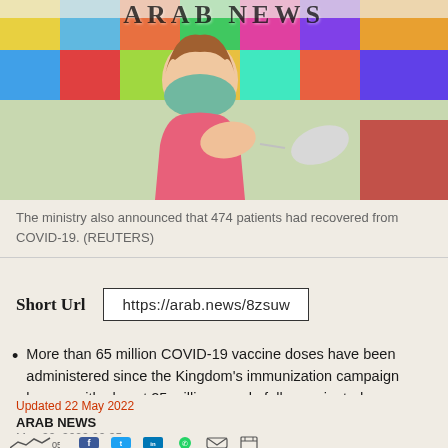[Figure (photo): Young girl in pink shirt receiving a vaccine injection, wearing a teal face mask, colorful background, medical professional in gloves administering shot]
ARAB NEWS
The ministry also announced that 474 patients had recovered from COVID-19. (REUTERS)
Short Url   https://arab.news/8zsuw
More than 65 million COVID-19 vaccine doses have been administered since the Kingdom's immunization campaign began, with almost 25 million people fully vaccinated
Updated 22 May 2022
ARAB NEWS
May 22, 2022 02:35